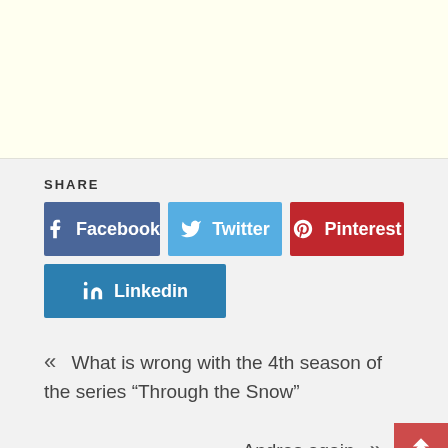[Figure (other): Yellow/cream colored ad banner area at top of page]
SHARE
f Facebook
Twitter
Pinterest
in Linkedin
« What is wrong with the 4th season of the series “Through the Snow”
Andres again »